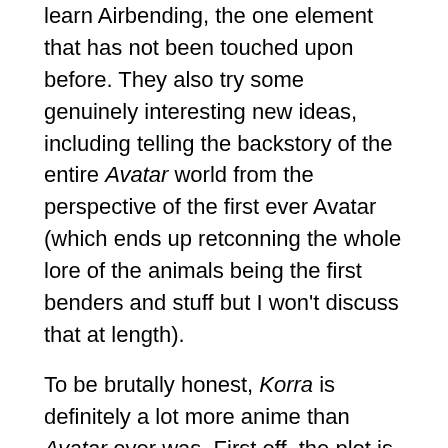learn Airbending, the one element that has not been touched upon before. They also try some genuinely interesting new ideas, including telling the backstory of the entire Avatar world from the perspective of the first ever Avatar (which ends up retconning the whole lore of the animals being the first benders and stuff but I won't discuss that at length).
To be brutally honest, Korra is definitely a lot more anime than Avatar ever was. First off, the plot is much more focused right away. While most episodes have self-contained narratives, each of them has a fluid connection to the overarching story. This means less filler, woohoo!
The show is also more anime in terms of its visuals. While it still behaves like a Saturday morning cartoon, a lot of aspects- from the textures, to color palettes, to lighting effects, etc.- feel very distinctly anime. It also helps that they outsourced the show to some actual Asian studios (I know I always talk about visuals last but it just flowed better for me to put it here, okay?). But in the end, the foreign companies...